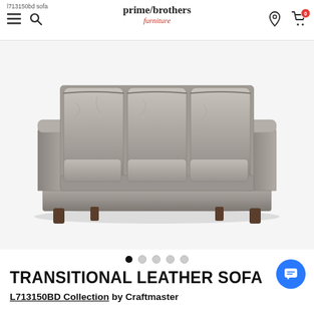prime/brothers furniture — navigation header with menu, search, logo, location, and cart icons
[Figure (photo): Gray leather transitional sofa with three cushions, rolled arms, and dark wooden legs on a white background]
Slideshow dots: 5 dots, first one active (filled black), rest grey
TRANSITIONAL LEATHER SOFA
L713150BD Collection by Craftmaster